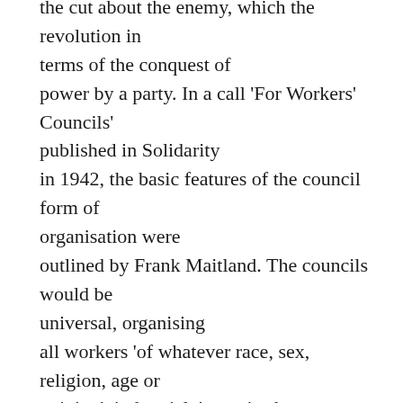the cut about the enemy, which the revolution in terms of the conquest of power by a party. In a call 'For Workers' Councils' published in Solidarity in 1942, the basic features of the council form of organisation were outlined by Frank Maitland. The councils would be universal, organising all workers 'of whatever race, sex, religion, age or opinion'; industrial, 'organised in units of factory, workshop, store, yard, mine or other enterprise'; proletarian in composition, 'representing only the working class'; democratic, 'organised in the simplest possible way, with the participation of all workers'; and revolutionary, fighting for 'the overthrow of capitalist